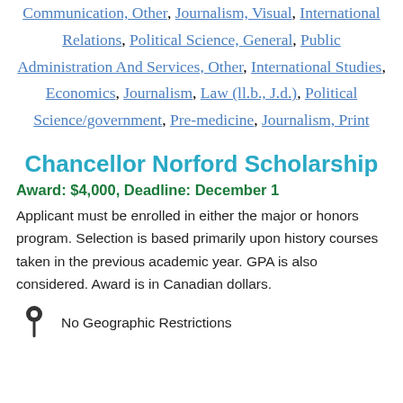Communication, Other, Journalism, Visual, International Relations, Political Science, General, Public Administration And Services, Other, International Studies, Economics, Journalism, Law (ll.b., J.d.), Political Science/government, Pre-medicine, Journalism, Print
Chancellor Norford Scholarship
Award: $4,000, Deadline: December 1
Applicant must be enrolled in either the major or honors program. Selection is based primarily upon history courses taken in the previous academic year. GPA is also considered. Award is in Canadian dollars.
No Geographic Restrictions